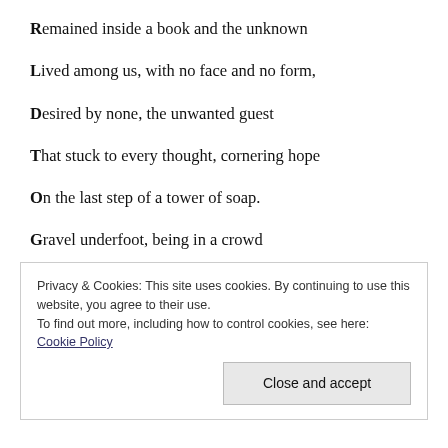Remained inside a book and the unknown
Lived among us, with no face and no form,
Desired by none, the unwanted guest
That stuck to every thought, cornering hope
On the last step of a tower of soap.
Gravel underfoot, being in a crowd
Privacy & Cookies: This site uses cookies. By continuing to use this website, you agree to their use. To find out more, including how to control cookies, see here: Cookie Policy
Close and accept